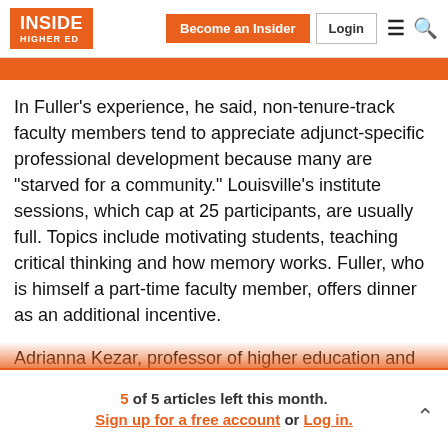Inside Higher Ed | Become an Insider | Login
In Fuller's experience, he said, non-tenure-track faculty members tend to appreciate adjunct-specific professional development because many are “starved for a community.” Louisville’s institute sessions, which cap at 25 participants, are usually full. Topics include motivating students, teaching critical thinking and how memory works. Fuller, who is himself a part-time faculty member, offers dinner as an additional incentive.
Adrianna Kezar, professor of higher education and director of the Delphi Project on the Changing Faculty and
5 of 5 articles left this month. Sign up for a free account or Log in.